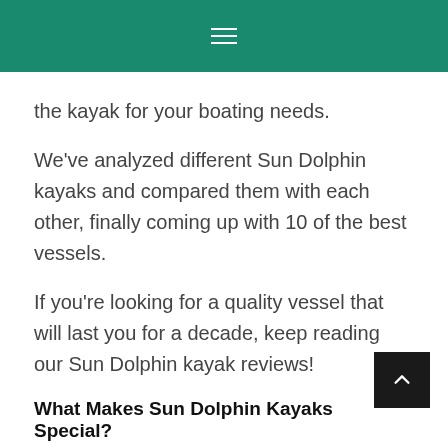≡
the kayak for your boating needs.
We've analyzed different Sun Dolphin kayaks and compared them with each other, finally coming up with 10 of the best vessels.
If you're looking for a quality vessel that will last you for a decade, keep reading our Sun Dolphin kayak reviews!
What Makes Sun Dolphin Kayaks Special?